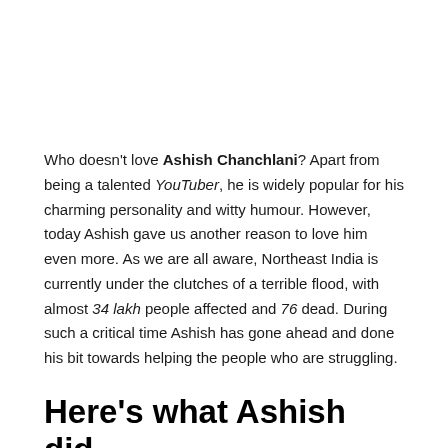Who doesn't love Ashish Chanchlani? Apart from being a talented YouTuber, he is widely popular for his charming personality and witty humour. However, today Ashish gave us another reason to love him even more. As we are all aware, Northeast India is currently under the clutches of a terrible flood, with almost 34 lakh people affected and 76 dead. During such a critical time Ashish has gone ahead and done his bit towards helping the people who are struggling.
Here's what Ashish did…
The youth icon, Ashish Chanchlani, has decided to donate 1